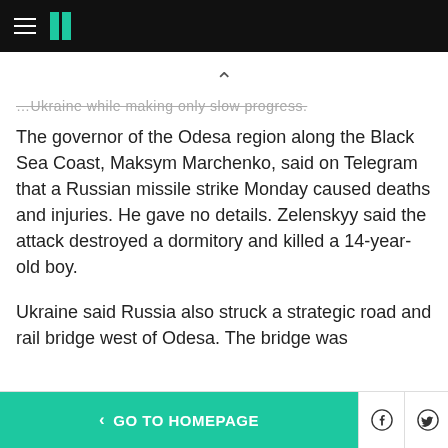HuffPost navigation
...Ukraine while making only slow progress.
The governor of the Odesa region along the Black Sea Coast, Maksym Marchenko, said on Telegram that a Russian missile strike Monday caused deaths and injuries. He gave no details. Zelenskyy said the attack destroyed a dormitory and killed a 14-year-old boy.
Ukraine said Russia also struck a strategic road and rail bridge west of Odesa. The bridge was
< GO TO HOMEPAGE